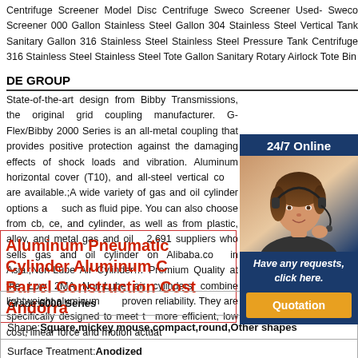Centrifuge Screener Model Disc Centrifuge Sweco Screener Used- Sweco Screener 000 Gallon Stainless Steel Gallon 304 Stainless Steel Vertical Tank Sanitary Gallon 316 Stainless Steel Stainless Steel Pressure Tank Centrifuge 316 Stainless Steel Stainless Steel Tote Gallon Sanitary Rotary Airlock Tote Bin
DE GROUP
State-of-the-art design from Bibby Transmissions, the original grid coupling manufacturer. G-Flex/Bibby 2000 Series is an all-metal coupling that provides positive protection against the damaging effects of shock loads and vibration. Aluminum horizontal cover (T10), and all-steel vertical cover are available.;A wide variety of gas and oil cylinder options and such as fluid pipe. You can also choose from cb, ce, and cylinder, as well as from plastic, alloy, and metal gas and oil 2,691 suppliers who sells gas and oil cylinder on Alibaba.co in Asia.;Non-Lube Air Cylinder... Premium Quality at the Low 2MA Non-Lube air cylinders combine lightweight aluminum proven reliability. They are specifically designed to meet to more efficient, low cost, linear force and motion actuate
Aluminum Pneumatic Cylinder Aluminum C Barrel Construction Cost Andorra
[Figure (photo): Customer service agent with headset, overlaid on dark blue panel with '24/7 Online' text, 'Have any requests, click here.' text, and an orange 'Quotation' button]
| Grade:6000 Series |
| Shape:Square,mickey mouse,compact,round,Other shapes |
| Surface Treatment:Anodized |